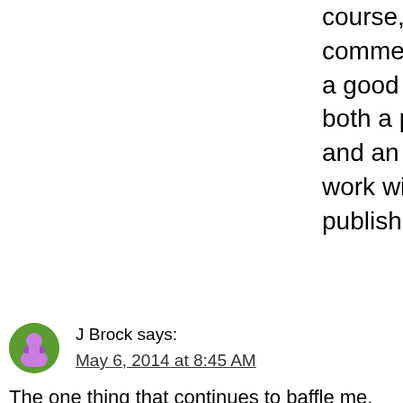course, the comments show why a good writer has both a proofreader and an editor to work with before publishing 🙂
J Brock says:
May 6, 2014 at 8:45 AM
The one thing that continues to baffle me. There is a lot of bad stuff out there self-